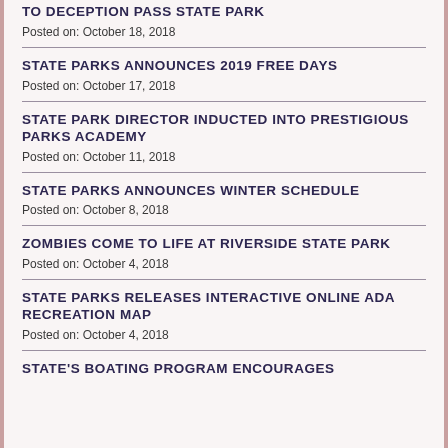TO DECEPTION PASS STATE PARK
Posted on: October 18, 2018
STATE PARKS ANNOUNCES 2019 FREE DAYS
Posted on: October 17, 2018
STATE PARK DIRECTOR INDUCTED INTO PRESTIGIOUS PARKS ACADEMY
Posted on: October 11, 2018
STATE PARKS ANNOUNCES WINTER SCHEDULE
Posted on: October 8, 2018
ZOMBIES COME TO LIFE AT RIVERSIDE STATE PARK
Posted on: October 4, 2018
STATE PARKS RELEASES INTERACTIVE ONLINE ADA RECREATION MAP
Posted on: October 4, 2018
STATE'S BOATING PROGRAM ENCOURAGES